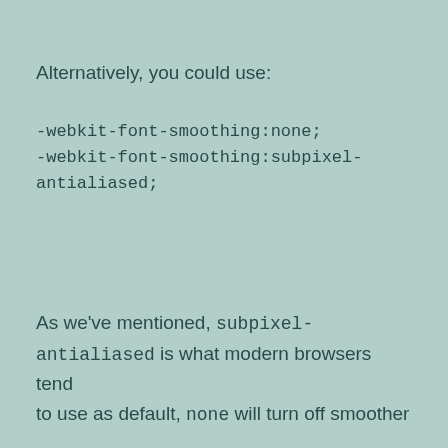Alternatively, you could use:
-webkit-font-smoothing:none;
-webkit-font-smoothing:subpixel-antialiased;
As we've mentioned, subpixel-antialiased is what modern browsers tend to use as default, none will turn off smoother